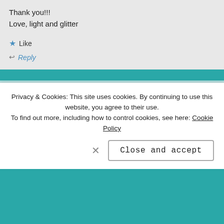Thank you!!!
Love, light and glitter
★ Like
↩ Reply
ROSIEJOSEPH says:
FEB 2, 2020 AT 13:04
Yep, count me in. I have been doing this since the beginning
Privacy & Cookies: This site uses cookies. By continuing to use this website, you agree to their use.
To find out more, including how to control cookies, see here: Cookie Policy
Close and accept